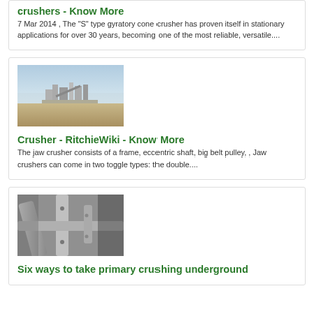crushers - Know More
7 Mar 2014 , The "S" type gyratory cone crusher has proven itself in stationary applications for over 30 years, becoming one of the most reliable, versatile....
[Figure (photo): Aerial view of an industrial crushing facility in an arid landscape]
Crusher - RitchieWiki - Know More
The jaw crusher consists of a frame, eccentric shaft, big belt pulley, , Jaw crushers can come in two toggle types: the double....
[Figure (photo): Close-up industrial view of crusher machinery with pipes and metal components]
Six ways to take primary crushing underground